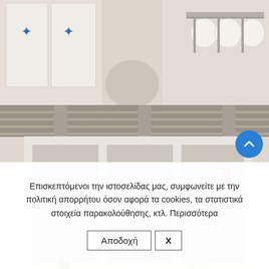[Figure (photo): Top portion of a kitchen scene showing white cabinet with blue star decorations on the left, a metal dish rack mounted on the wall with white plates on the right, warm beige/cream tones.]
[Figure (photo): Interior room with white cubic wall shelving units, wooden beam ceiling in grey-beige tones, small decorative objects on shelves including red items and white bird figures, two white lamp shades on the sides.]
Επισκεπτόμενοι την ιστοσελίδας μας, συμφωνείτε με την πολιτική απορρήτου όσον αφορά τα cookies, τα στατιστικά στοιχεία παρακολούθησης, κτλ. Περισσότερα
Αποδοχή  X